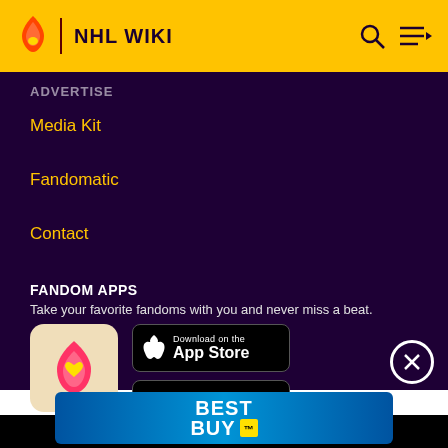NHL WIKI
ADVERTISE
Media Kit
Fandomatic
Contact
FANDOM APPS
Take your favorite fandoms with you and never miss a beat.
[Figure (screenshot): Fandom app icon with flame and heart logo, App Store button, and Google Play button]
[Figure (logo): Best Buy advertisement banner with blue gradient background and BEST BUY logo in white text]